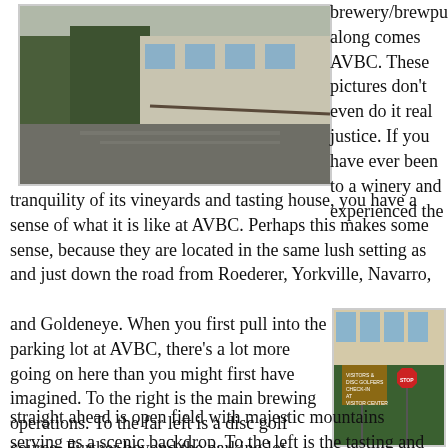[Figure (photo): Outdoor driveway/parking area with trees and a wooden fence; appears to be the entry to AVBC brewery grounds.]
brewery/brewpub, along comes AVBC. These pictures don't even do it real justice. If you have ever been to a winery and experienced the tranquility of its vineyards and tasting house, you have a sense of what it is like at AVBC. Perhaps this makes some sense, because they are located in the same lush setting as and just down the road from Roederer, Yorkville, Navarro, and Goldeneye. When you first pull into the parking lot at AVBC, there's a lot more going on here than you might first have imagined. To the right is the main brewing operations. To the far left is a disc golf course. Further beyond the parking lot straight ahead is open field with majestic mountains serving as a scenic backdrop. To the left is the tasting and merchandise house with an attached beer garden. Hops grow across trellises over the outdoor beer garden. Sheesh
[Figure (photo): Building exterior with large windows and ivy/hedge bushes; a brown wooden sign reading 'VISITORS & DISC GOLFERS CHECK-IN AT VISITOR CENTER' and a red stop sign visible.]